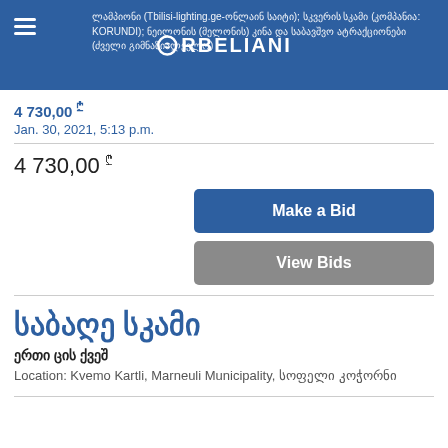ლამპიონი (Tbilisi-lighting.ge-ონლაინ საიტი); სკვერის სკამი (კომპანია: KORUNDI); ნეილონის (მელონის) კინა და საბავშვო ატრაქციონები (ძველი გიმნაზიალქელო) — ORBELIANI
4 730,00 ₾
Jan. 30, 2021, 5:13 p.m.
4 730,00 ₾
Make a Bid
View Bids
საბაღე სკამი
ერთი ცის ქვეშ
Location: Kvemo Kartli, Marneuli Municipality, სოფელი კოჭორნი